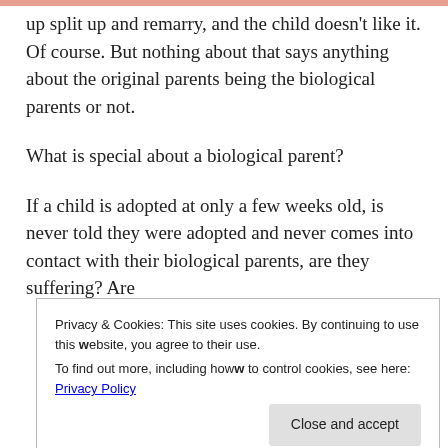up split up and remarry, and the child doesn't like it. Of course. But nothing about that says anything about the original parents being the biological parents or not.
What is special about a biological parent?
If a child is adopted at only a few weeks old, is never told they were adopted and never comes into contact with their biological parents, are they suffering? Are
Privacy & Cookies: This site uses cookies. By continuing to use this website, you agree to their use.
To find out more, including how to control cookies, see here: Privacy Policy